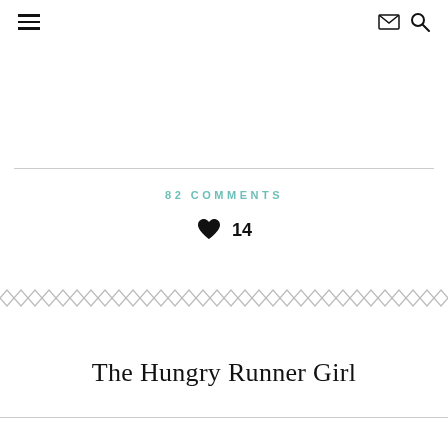☰  ✉  🔍
82 COMMENTS
♥ 14
[Figure (illustration): Decorative zigzag/chevron border pattern running horizontally across the page]
The Hungry Runner Girl